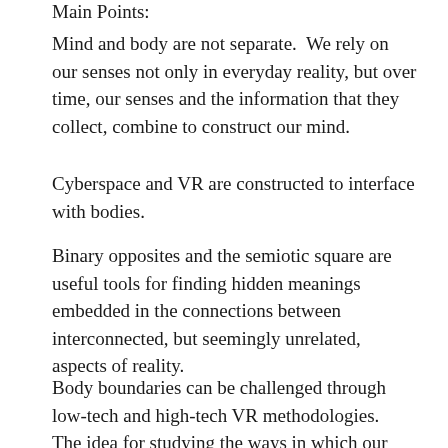Main Points:
Mind and body are not separate.  We rely on our senses not only in everyday reality, but over time, our senses and the information that they collect, combine to construct our mind.
Cyberspace and VR are constructed to interface with bodies.
Binary opposites and the semiotic square are useful tools for finding hidden meanings embedded in the connections between interconnected, but seemingly unrelated, aspects of reality.
Body boundaries can be challenged through low-tech and high-tech VR methodologies.  The idea for studying the ways in which our bodily boundaries are challenged floats from here.